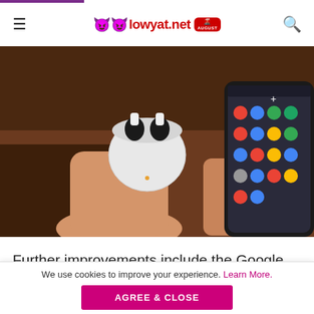lowyat.net
[Figure (photo): Hands holding Google Pixel Buds case and an Android smartphone showing the home screen with Google app icons]
Further improvements include the Google Assistant feature
We use cookies to improve your experience. Learn More.
AGREE & CLOSE